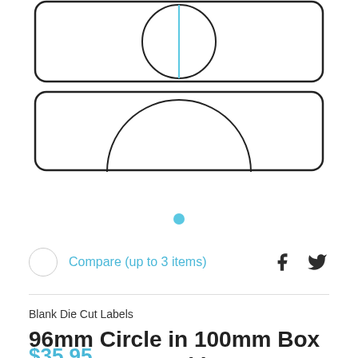[Figure (illustration): Product label diagram showing two rounded rectangle label outlines stacked vertically, each with a circle inscribed inside. The top label has a vertical blue center line. The bottom label shows the top arc of the circle. Black outlines on white background.]
Compare (up to 3 items)
Blank Die Cut Labels
96mm Circle in 100mm Box – Matt Paper Inkjet Perm Labels – Per 1000
$35.95